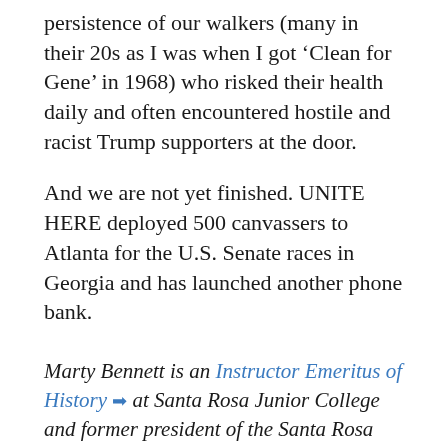persistence of our walkers (many in their 20s as I was when I got 'Clean for Gene' in 1968) who risked their health daily and often encountered hostile and racist Trump supporters at the door.
And we are not yet finished. UNITE HERE deployed 500 canvassers to Atlanta for the U.S. Senate races in Georgia and has launched another phone bank.
Marty Bennett is an Instructor Emeritus of History ➡ at Santa Rosa Junior College and former president of the Santa Rosa Junior College Federation of Teachers, AFT Local 1946.